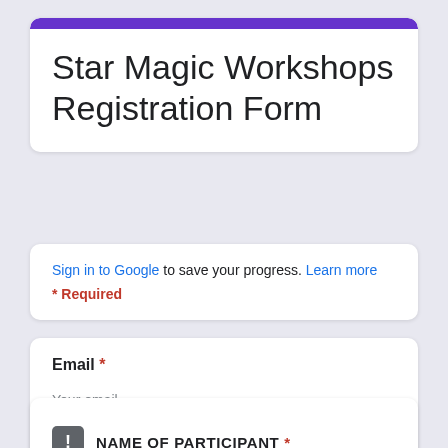Star Magic Workshops Registration Form
Sign in to Google to save your progress. Learn more
* Required
Email *
Your email
NAME OF PARTICIPANT *